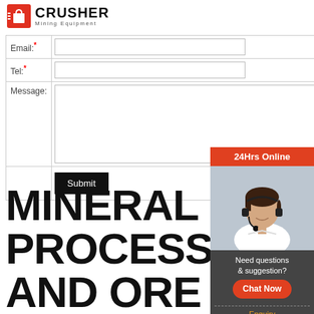[Figure (logo): Crusher Mining Equipment logo with red shopping bag icon and bold CRUSHER text]
| Email:* | (input field) |
| Tel:* | (input field) |
| Message: | (textarea) |
|  | Submit |
[Figure (photo): Customer service representative wearing headset, 24Hrs Online banner, with chat widget showing Need questions & suggestion, Chat Now button, Enquiry link, and limingjlmofen@sina.com email]
MINERAL PROCESSING AND ORE